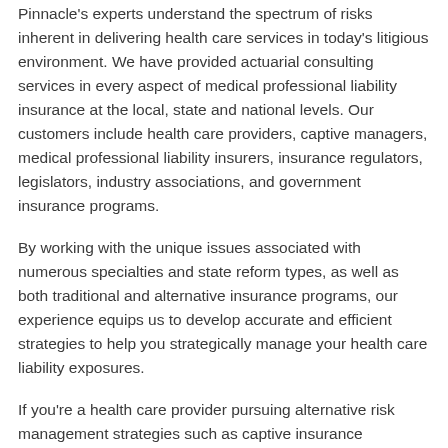Pinnacle's experts understand the spectrum of risks inherent in delivering health care services in today's litigious environment. We have provided actuarial consulting services in every aspect of medical professional liability insurance at the local, state and national levels. Our customers include health care providers, captive managers, medical professional liability insurers, insurance regulators, legislators, industry associations, and government insurance programs.
By working with the unique issues associated with numerous specialties and state reform types, as well as both traditional and alternative insurance programs, our experience equips us to develop accurate and efficient strategies to help you strategically manage your health care liability exposures.
If you're a health care provider pursuing alternative risk management strategies such as captive insurance...